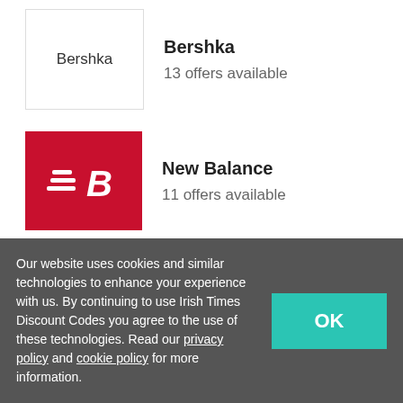[Figure (logo): Bershka text logo in a white bordered box]
Bershka
13 offers available
[Figure (logo): New Balance logo: white NB symbol on red background]
New Balance
11 offers available
Gassan Offers
Deals  2
Sign Up  1
Our website uses cookies and similar technologies to enhance your experience with us. By continuing to use Irish Times Discount Codes you agree to the use of these technologies. Read our privacy policy and cookie policy for more information.